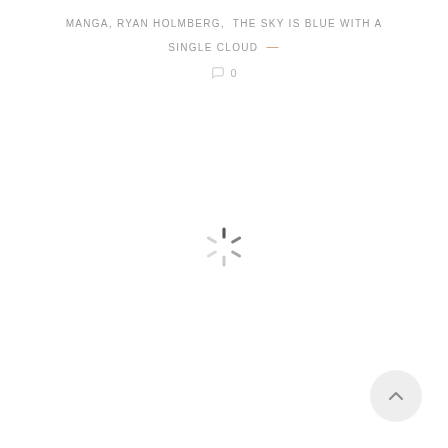MANGA, RYAN HOLMBERG, THE SKY IS BLUE WITH A SINGLE CLOUD —
0
[Figure (other): Loading spinner / activity indicator icon in the center of the page]
[Figure (other): Back to top button — circular grey button with upward chevron arrow, bottom right corner]